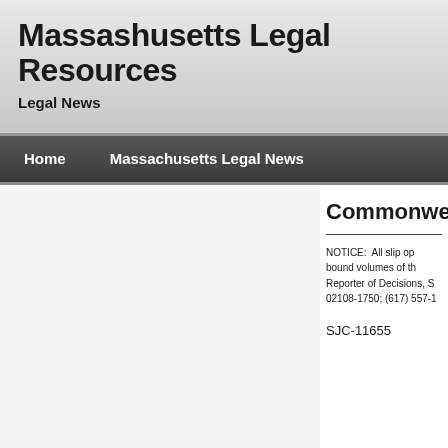Massashusetts Legal Resources
Legal News
Home   Massachusetts Legal News
Commonwea
NOTICE:  All slip op bound volumes of th Reporter of Decisions, S 02108-1750; (617) 557-1
SJC-11655